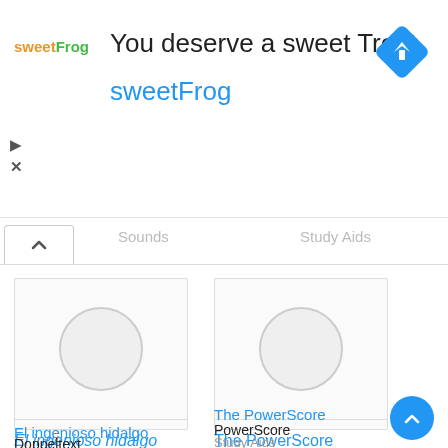[Figure (screenshot): Advertisement banner for sweetFrog frozen yogurt. Shows sweetFrog logo on left, headline 'You deserve a sweet Treat', brand name 'sweetFrog' in blue, and a blue diamond navigation icon on right. Play and close icons at bottom left.]
You deserve a sweet Treat
sweetFrog
Sounds   Study Aids
[Figure (screenshot): Book card for 'El ingenioso hidalgo' by Doppeltext, Foreign Languages category. Shows a loading circle placeholder image.]
El ingenioso hidalgo
Doppeltext
Foreign Languages
[Figure (screenshot): Book card for 'The PowerScore' by PowerScore, Study Aids category. Shows a loading circle placeholder image.]
The PowerScore
PowerScore
Study Aids